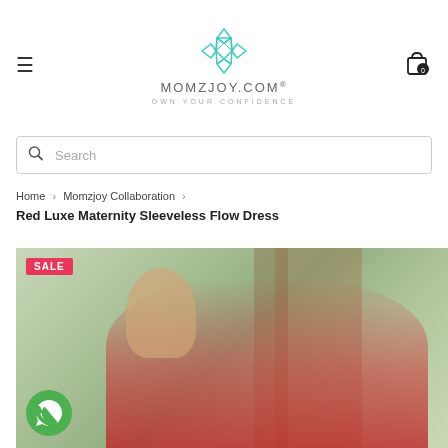MOMZJOY.COM® — OWN YOUR CONFIDENCE
Search
Home › Momzjoy Collaboration ›
Red Luxe Maternity Sleeveless Flow Dress
[Figure (photo): Woman wearing a red sleeveless maternity dress, smiling, outdoor background with greenery. SALE badge in top left corner. WhatsApp button in bottom left.]